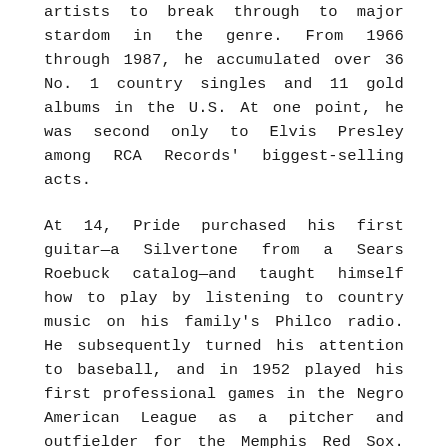artists to break through to major stardom in the genre. From 1966 through 1987, he accumulated over 36 No. 1 country singles and 11 gold albums in the U.S. At one point, he was second only to Elvis Presley among RCA Records' biggest-selling acts.
At 14, Pride purchased his first guitar—a Silvertone from a Sears Roebuck catalog—and taught himself how to play by listening to country music on his family's Philco radio. He subsequently turned his attention to baseball, and in 1952 played his first professional games in the Negro American League as a pitcher and outfielder for the Memphis Red Sox. Over the next several years, Pride played for many teams, including the Boise Yankees (the Class C farm team of the New York Yankees), the Louisville Clippers, and the Birmingham Black Barons. Upon rejoining the Memphis Red Sox in 1956 he won 14 games as a pitcher and earned himself a position